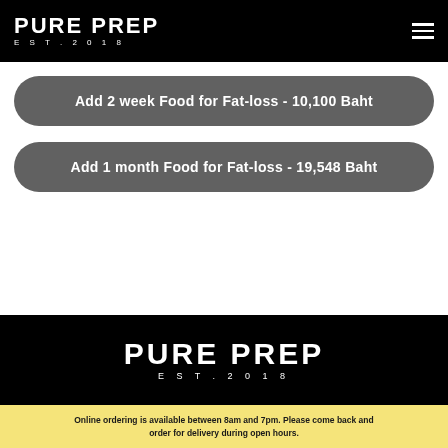PURE PREP EST. 2018
Add 2 week Food for Fat-loss - 10,100 Baht
Add 1 month Food for Fat-loss - 19,548 Baht
[Figure (logo): Pure Prep EST. 2018 logo in white on black background]
Online ordering is available between 8am and 7pm. Please come back and order for delivery during open hours.